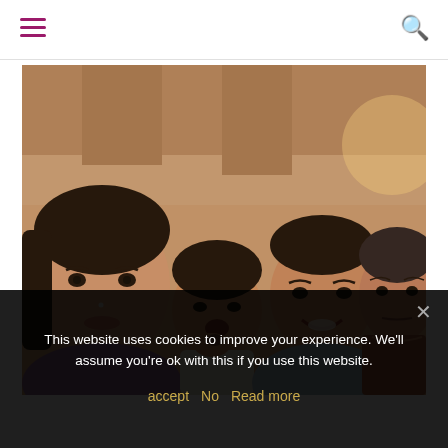≡ [hamburger menu] | [search icon]
[Figure (photo): A family group photo with four people sitting together in front of a wooden structure. From left to right: a young woman with a nose ring wearing a purple top, a small child eating something, a smiling young man in a light blue t-shirt, and an older woman in a rust/brown shirt.]
This website uses cookies to improve your experience. We'll assume you're ok with this if you use this website.
accept   No   Read more